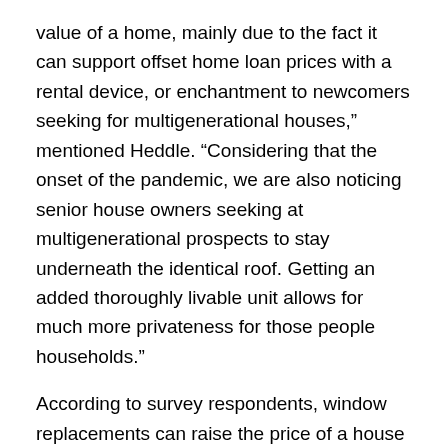value of a home, mainly due to the fact it can support offset home loan prices with a rental device, or enchantment to newcomers seeking for multigenerational houses,” mentioned Heddle. “Considering that the onset of the pandemic, we are also noticing senior house owners seeking at multigenerational prospects to stay underneath the identical roof. Getting an added thoroughly livable unit allows for much more privateness for those people households.”
According to survey respondents, window replacements can raise the price of a house by 13 for each cent, and inside painting can boost the worth of a house by 12 per cent, on normal.
“Although updating the kitchen area or a bathroom can increase your revenue price much more noticeably, insignificant upgrades these